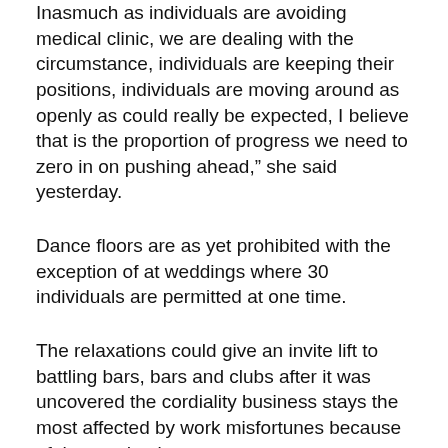Inasmuch as individuals are avoiding medical clinic, we are dealing with the circumstance, individuals are keeping their positions, individuals are moving around as openly as could really be expected, I believe that is the proportion of progress we need to zero in on pushing ahead,” she said yesterday.
Dance floors are as yet prohibited with the exception of at weddings where 30 individuals are permitted at one time.
The relaxations could give an invite lift to battling bars, bars and clubs after it was uncovered the cordiality business stays the most affected by work misfortunes because of the pandemic.